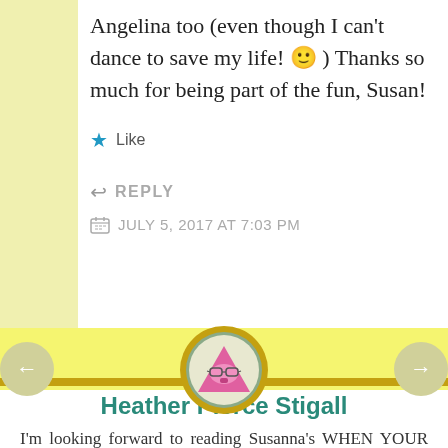Angelina too (even though I can't dance to save my life! 🙂 ) Thanks so much for being part of the fun, Susan!
Like
REPLY
JULY 5, 2017 AT 7:03 PM
[Figure (illustration): Circular avatar showing a cartoon pink triangle character wearing glasses, framed with a gold ring border, on a yellow-green background band]
Heather Pierce Stigall
I'm looking forward to reading Susanna's WHEN YOUR books and hope there are more in the works! I'll go back to my childhood and say that my favorite